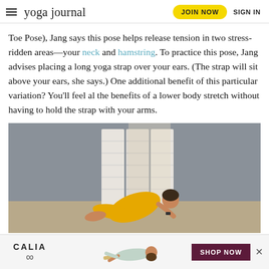yoga journal | JOIN NOW | SIGN IN
Toe Pose), Jang says this pose helps release tension in two stress-ridden areas—your neck and hamstring. To practice this pose, Jang advises placing a long yoga strap over your ears. (The strap will sit above your ears, she says.) One additional benefit of this particular variation? You'll feel al the benefits of a lower body stretch without having to hold the strap with your arms.
[Figure (photo): Woman in yellow outfit performing a yoga pose on a mat in front of a white folding screen/room divider against a grey wall]
[Figure (photo): CALIA advertisement banner showing a person doing yoga, with CALIA logo and SHOP NOW button]